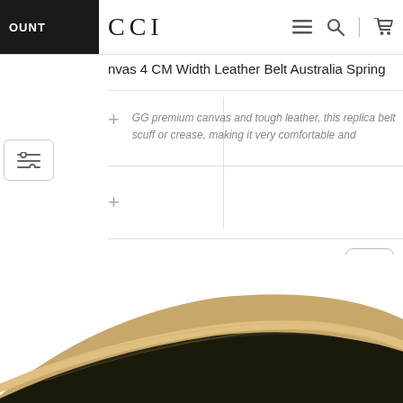OUNT  CCI
nvas 4 CM Width Leather Belt Australia Spring
GG premium canvas and tough leather, this replica belt scuff or crease, making it very comfortable and
[Figure (screenshot): Bottom portion of a leather belt (tan/beige color with dark edge), curved shape visible at bottom of page]
[Figure (other): Facebook share button icon (f letter in rounded square border)]
[Figure (other): Skype share button icon (S letter in rounded square border)]